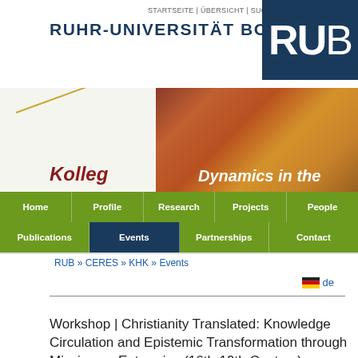RUHR-UNIVERSITÄT BOCHUM | STARTSEITE | ÜBERSICHT | SUCHE | A-Z
[Figure (screenshot): University banner image showing decorative artwork on the right side with 'Kolleg' and 'Dynamics in the' text overlay]
Home | Profile | Research | Projects | People | Publications | Events | Partnerships | Contact
RUB » CERES » KHK » Events
Workshop | Christianity Translated: Knowledge Circulation and Epistemic Transformation through Missionary Enterprise (16th-19th Century)